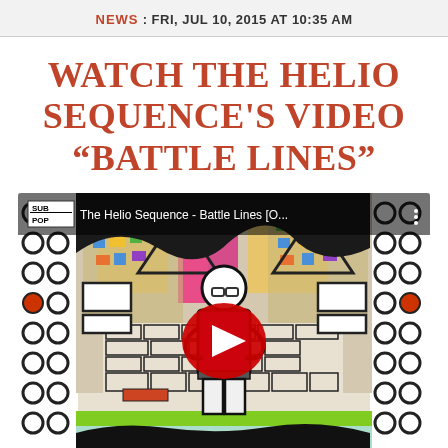NEWS : FRI, JUL 10, 2015 AT 10:35 AM
WATCH THE HELIO SEQUENCE'S VIDEO “BATTLE LINES”
[Figure (screenshot): YouTube video embed showing The Helio Sequence - Battle Lines [O... with Sub Pop logo, featuring colorful artistic animation of a figure with arms crossed surrounded by geometric shapes, brick-like patterns, circles, and vivid colors. Red YouTube play button centered over the thumbnail.]